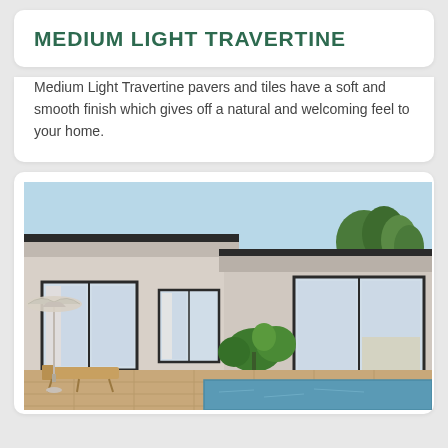MEDIUM LIGHT TRAVERTINE
Medium Light Travertine pavers and tiles have a soft and smooth finish which gives off a natural and welcoming feel to your home.
[Figure (photo): Exterior photo of a modern white flat-roof home with large glass sliding doors, lush green plants, a pool with travertine pavers, a lounge chair with umbrella, and blue sky with trees in background.]